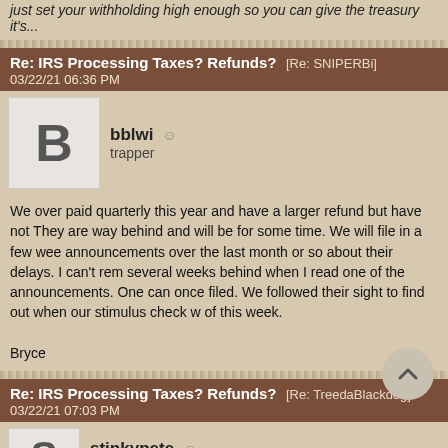just set your withholding high enough so you can give the treasury it's...
Re: IRS Processing Taxes? Refunds? [Re: SNIPERBi] 03/22/21 06:36 PM
bblwi
trapper
We over paid quarterly this year and have a larger refund but have not. They are way behind and will be for some time. We will file in a few wee announcements over the last month or so about their delays. I can't rem several weeks behind when I read one of the announcements. One can once filed. We followed their sight to find out when our stimulus check w of this week.

Bryce
Re: IRS Processing Taxes? Refunds? [Re: TreedaBlackdog] 03/22/21 07:03 PM
stinkypete
trapper